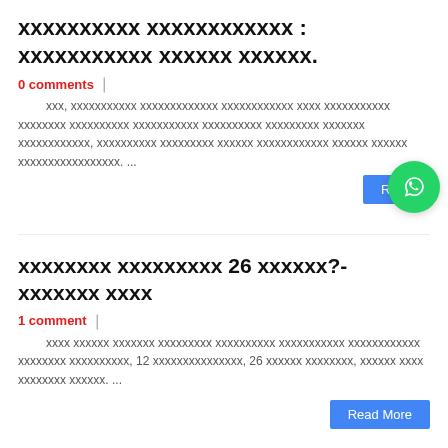xxxxxxxxxx xxxxxxxxxxxx : xxxxxxxxxxx xxxxxx xxxxxx.
0 comments
xxx, xxxxxxxxxxx xxxxxxxxxxxxx xxxxxxxxxxxx xxxx xxxxxxxxxxx xxxxxxxx xxxxxxxxxx xxxxxxxxxxx xxxxxxxxxx xxxxxxxxx xxxxxxx xxxxxxxxxxxx, xxxxxxxxxx xxxxxxxxx xxxxxx xxxxxxxxxxxx xxxxxx xxxxxx xxxxxxxxxxxxxxxxx. ...
xxxxxxxx xxxxxxxxx 26 xxxxxx?- xxxxxxx xxxx
1 comment
xxxx xxxxxx xxxxxxx xxxxxxxxx xxxxxxxxxx xxxxxxxxxxx xxxxxxxxxxxx xxxxxxxx xxxxxxxxxx, 12 xxxxxxxxxxxxxxx, 26 xxxxxx xxxxxxxx, xxxxxx xxxx xxxxxxxx xxxxxx. ...